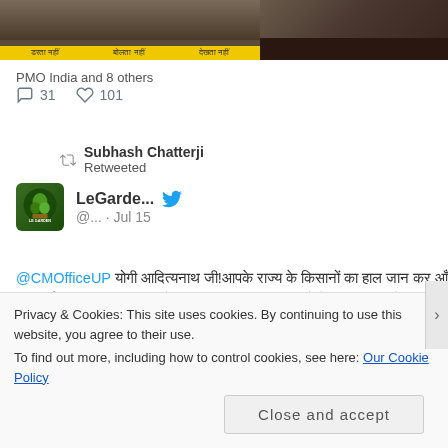[Figure (screenshot): Two images side by side: left image shows a news graphic with yellow banner text in Hindi, right image shows a dark scene]
PMO India and 8 others
31 comments  101 likes
Subhash Chatterji Retweeted
LeGarde...  @...  · Jul 15
@CMOfficeUP [Hindi text] 4000 [Hindi text]
Privacy & Cookies: This site uses cookies. By continuing to use this website, you agree to their use.
To find out more, including how to control cookies, see here: Our Cookie Policy
Close and accept